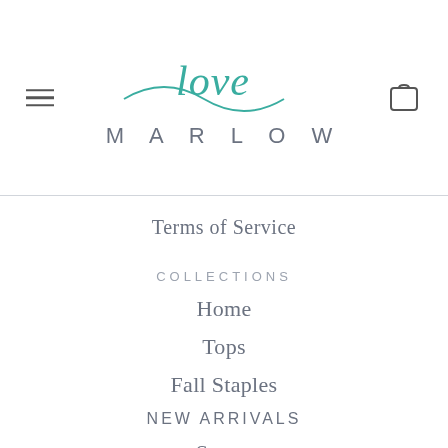[Figure (logo): Love Marlow brand logo with teal script 'love' above bold grey 'MARLOW' text and a teal wavy underline]
Terms of Service
COLLECTIONS
Home
Tops
Fall Staples
NEW ARRIVALS
Spanx
Sale
Bottoms